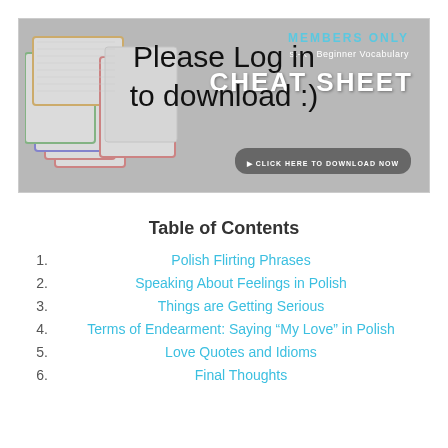[Figure (other): Members Only banner with cheat sheet advertisement overlaid with handwritten text 'Please Log in to download :)']
Table of Contents
Polish Flirting Phrases
Speaking About Feelings in Polish
Things are Getting Serious
Terms of Endearment: Saying “My Love” in Polish
Love Quotes and Idioms
Final Thoughts